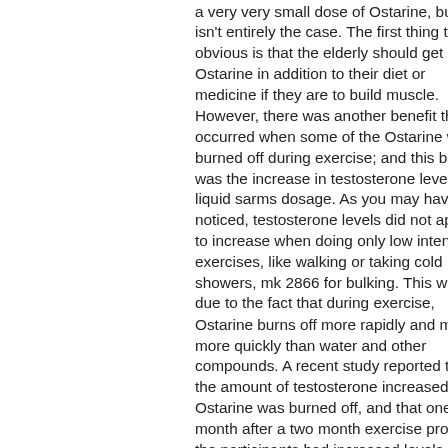adverse effects that occur after only taking a very very small dose of Ostarine, but that isn't entirely the case. The first thing that is obvious is that the elderly should get Ostarine in addition to their diet or medicine if they are to build muscle. However, there was another benefit that occurred when some of the Ostarine was burned off during exercise; and this benefit was the increase in testosterone levels, liquid sarms dosage. As you may have noticed, testosterone levels did not appear to increase when doing only low intensity exercises, like walking or taking cold showers, mk 2866 for bulking. This was due to the fact that during exercise, Ostarine burns off more rapidly and much more quickly than water and other compounds. A recent study reported that the amount of testosterone increased as Ostarine was burned off, and that one month after a two month exercise program, the participants had increased levels of 16, ostarine dosage